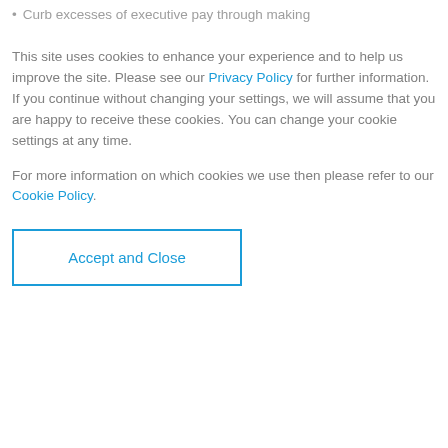Curb excesses of executive pay through making
This site uses cookies to enhance your experience and to help us improve the site. Please see our Privacy Policy for further information. If you continue without changing your settings, we will assume that you are happy to receive these cookies. You can change your cookie settings at any time.
For more information on which cookies we use then please refer to our Cookie Policy.
Accept and Close